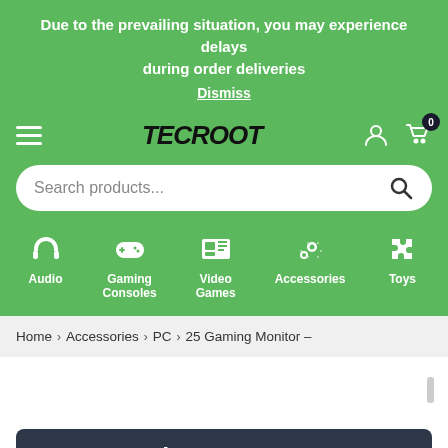Due to the prevailing situation, you may experience delays during order deliveries
Dismiss
[Figure (logo): TECROOT logo with hamburger menu, user icon, and cart icon with badge 0]
Search products...
Audio
Gaming Consoles
Video Games
Accessories
Toys
Home > Accessories > PC > 25 Gaming Monitor –
Buy Now